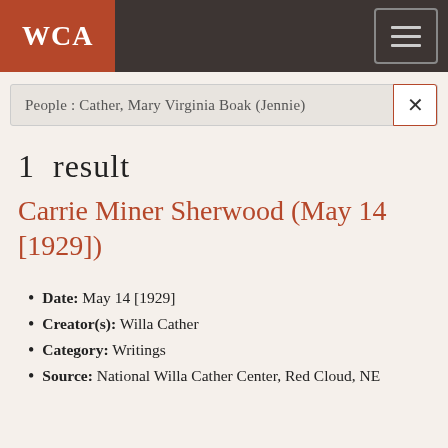WCA
People : Cather, Mary Virginia Boak (Jennie)
1 result
Carrie Miner Sherwood (May 14 [1929])
Date: May 14 [1929]
Creator(s): Willa Cather
Category: Writings
Source: National Willa Cather Center, Red Cloud, NE